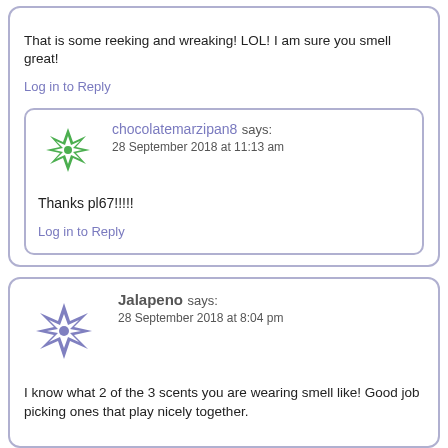That is some reeking and wreaking! LOL! I am sure you smell great!
Log in to Reply
chocolatemarzipan8 says:
28 September 2018 at 11:13 am
Thanks pl67!!!!!
Log in to Reply
Jalapeno says:
28 September 2018 at 8:04 pm
I know what 2 of the 3 scents you are wearing smell like! Good job picking ones that play nicely together.